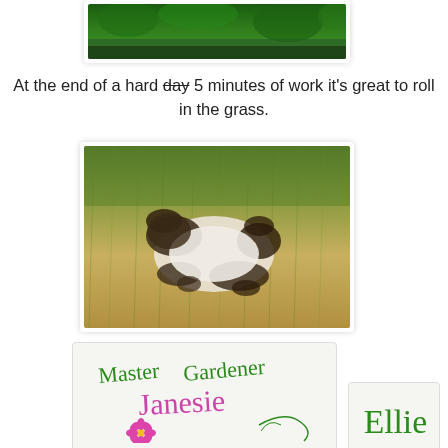[Figure (photo): Top portion of a photo showing green leafy plants/trees near water, partially cropped at top of page]
At the end of a hard day 5 minutes of work it's great to roll in the grass.
[Figure (photo): A cat (appears to be Siamese or similar) rolling on its back in dry grass, photographed from above]
[Figure (logo): Master Gardener Janesie logo with cursive green and pink text and a pink flower decoration]
[Figure (logo): Ellie signature logo in green cursive script on light background]